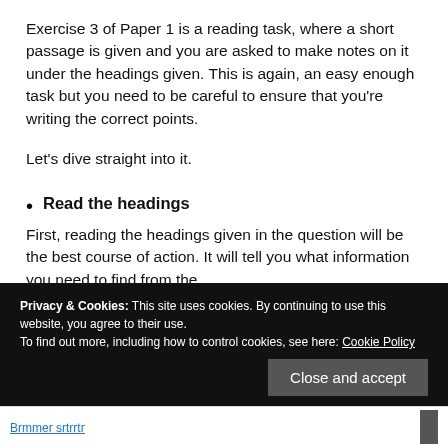Exercise 3 of Paper 1 is a reading task, where a short passage is given and you are asked to make notes on it under the headings given. This is again, an easy enough task but you need to be careful to ensure that you're writing the correct points.
Let's dive straight into it.
Read the headings
First, reading the headings given in the question will be the best course of action. It will tell you what information you need to find from the
Privacy & Cookies: This site uses cookies. By continuing to use this website, you agree to their use.
To find out more, including how to control cookies, see here: Cookie Policy
Close and accept